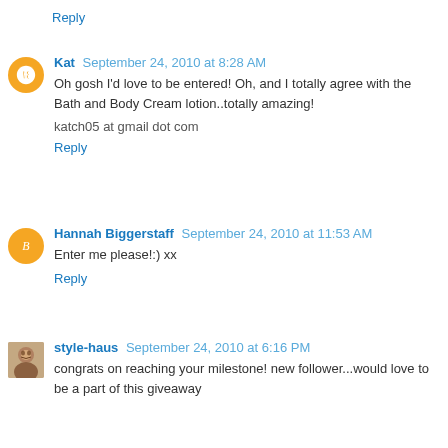Reply
Kat September 24, 2010 at 8:28 AM
Oh gosh I'd love to be entered! Oh, and I totally agree with the Bath and Body Cream lotion..totally amazing!
katch05 at gmail dot com
Reply
Hannah Biggerstaff September 24, 2010 at 11:53 AM
Enter me please!:) xx
Reply
style-haus September 24, 2010 at 6:16 PM
congrats on reaching your milestone! new follower...would love to be a part of this giveaway